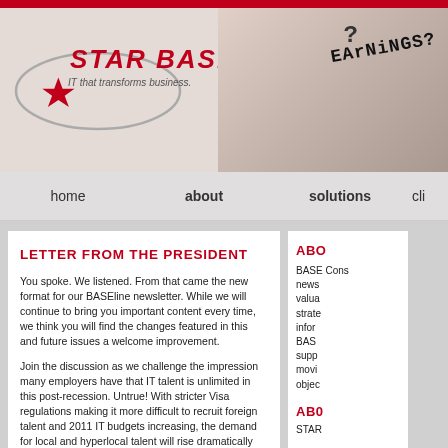STAR BASE — IT that transforms business. (header banner with logo and earnings image)
home  about  solutions  cli...
LETTER FROM THE PRESIDENT
You spoke. We listened. From that came the new format for our BASEline newsletter. While we will continue to bring you important content every time, we think you will find the changes featured in this and future issues a welcome improvement.
Join the discussion as we challenge the impression many employers have that IT talent is unlimited in this post-recession. Untrue! With stricter Visa regulations making it more difficult to recruit foreign talent and 2011 IT budgets increasing, the demand for local and hyperlocal talent will rise dramatically thus further shrinking the talent pool. We urge you to meet this challenge by leveraging a few tips on post-recession IT recruiting. Read the full article, IT Talent Bandwidth IS Limited. What Should You Do About It?
ABO...
BASE Cons... news... valua... strate... infor... BAS: supp... movi... objec...
AB0...
STAR...